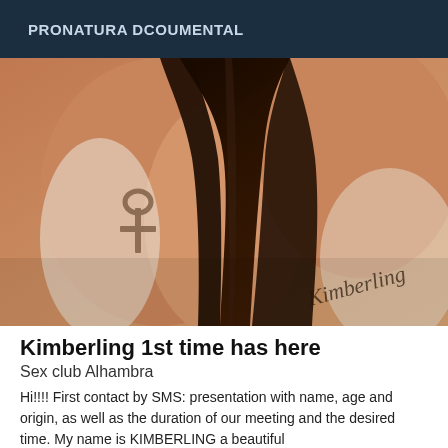PRONATURA DCOUMENTAL
[Figure (photo): Close-up photo of a person's back/arm area with long dark hair and an ankh tattoo visible on the arm. A cursive watermark text 'Kimberling' appears in the lower right corner of the image.]
Kimberling 1st time has here
Sex club Alhambra
Hi!!!! First contact by SMS: presentation with name, age and origin, as well as the duration of our meeting and the desired time. My name is KIMBERLING a beautiful